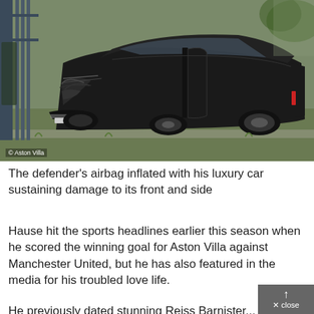[Figure (photo): A crashed black luxury car (Lamborghini/VW-style) with front and side damage, resting against metal railings on a grass verge. The driver's door is open. Photo credit: © Aston Villa.]
The defender's airbag inflated with his luxury car sustaining damage to its front and side
Hause hit the sports headlines earlier this season when he scored the winning goal for Aston Villa against Manchester United, but he has also featured in the media for his troubled love life.
He previously dated stunning Reiss Barnister...